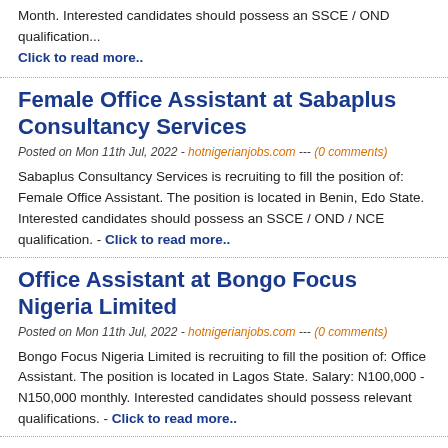Month. Interested candidates should possess an SSCE / OND qualification...
Click to read more..
Female Office Assistant at Sabaplus Consultancy Services
Posted on Mon 11th Jul, 2022 - hotnigerianjobs.com --- (0 comments)
Sabaplus Consultancy Services is recruiting to fill the position of: Female Office Assistant. The position is located in Benin, Edo State. Interested candidates should possess an SSCE / OND / NCE qualification. - Click to read more..
Office Assistant at Bongo Focus Nigeria Limited
Posted on Mon 11th Jul, 2022 - hotnigerianjobs.com --- (0 comments)
Bongo Focus Nigeria Limited is recruiting to fill the position of: Office Assistant. The position is located in Lagos State. Salary: N100,000 - N150,000 monthly. Interested candidates should possess relevant qualifications. - Click to read more..